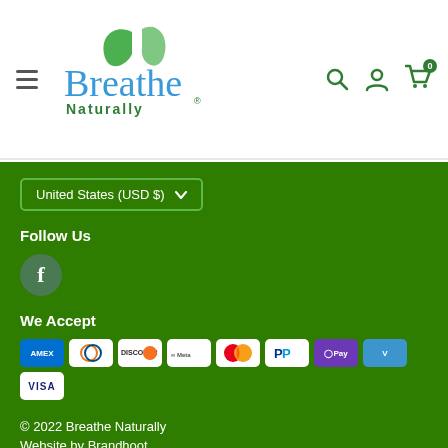Breathe Naturally - header navigation with hamburger menu, logo, search, account, and cart icons
[Figure (screenshot): Country/currency selector dropdown showing United States (USD $)]
Follow Us
[Figure (logo): Facebook icon circle button]
We Accept
[Figure (infographic): Payment method icons: AMEX, Diners Club, Discover, Meta Pay, Mastercard, PayPal, Apple Pay, Venmo, Visa]
© 2022 Breathe Naturally
Website by Brandhoot